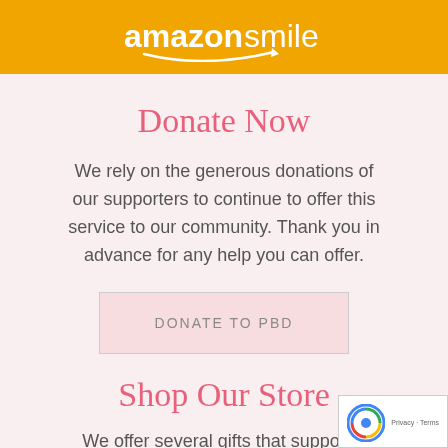[Figure (logo): Amazon Smile logo on orange/amber background with bold white text reading 'amazonsmile' with the Amazon smile arrow beneath]
Donate Now
We rely on the generous donations of our supporters to continue to offer this service to our community. Thank you in advance for any help you can offer.
DONATE TO PBD
Shop Our Store
We offer several gifts that support a grieving family and honor their baby